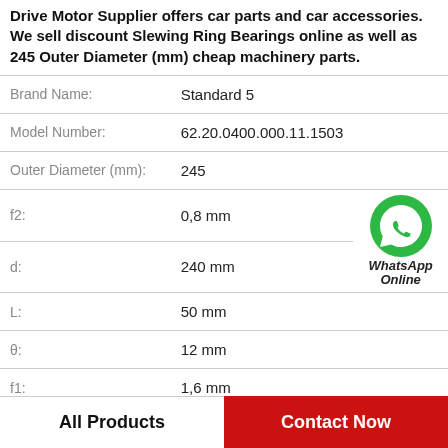Drive Motor Supplier offers car parts and car accessories. We sell discount Slewing Ring Bearings online as well as 245 Outer Diameter (mm) cheap machinery parts.
| Property | Value |
| --- | --- |
| Brand Name: | Standard 5 |
| Model Number: | 62.20.0400.000.11.1503 |
| Outer Diameter (mm): | 245 |
| f2: | 0,8 mm |
| d: | 240 mm |
| L: | 50 mm |
| θ: | 12 mm |
| f1: | 1,6 mm |
[Figure (logo): WhatsApp Online green phone icon with label]
All Products    Contact Now